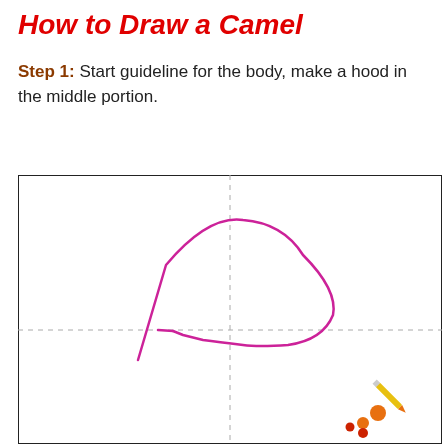How to Draw a Camel
Step 1: Start guideline for the body, make a hood in the middle portion.
[Figure (illustration): A drawing canvas with dashed guideline crosshairs dividing it into quadrants. A pink/magenta hand-drawn camel body outline is shown — a curved hump shape in the upper-center area with a line extending left and curving down to the right, forming the basic body guideline. In the bottom-right corner are small orange and red dots and a yellow pencil icon (drawing tools logo).]